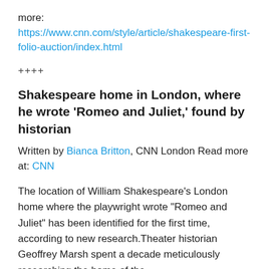more: https://www.cnn.com/style/article/shakespeare-first-folio-auction/index.html
++++
Shakespeare home in London, where he wrote 'Romeo and Juliet,' found by historian
Written by Bianca Britton, CNN London Read more at: CNN
The location of William Shakespeare's London home where the playwright wrote “Romeo and Juliet” has been identified for the first time, according to new research.Theater historian Geoffrey Marsh spent a decade meticulously researching the home of the